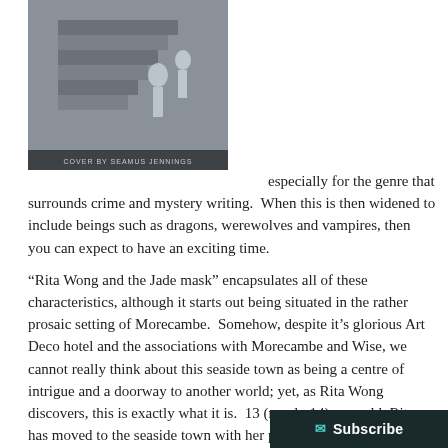[Figure (illustration): Book cover image showing a grayscale illustration of stairs and figures, with text at the bottom reading 'COVER BY SEAMUS JENNINGS']
especially for the genre that surrounds crime and mystery writing.  When this is then widened to include beings such as dragons, werewolves and vampires, then you can expect to have an exciting time.

“Rita Wong and the Jade mask” encapsulates all of these characteristics, although it starts out being situated in the rather prosaic setting of Morecambe.  Somehow, despite it’s glorious Art Deco hotel and the associations with Morecambe and Wise, we cannot really think about this seaside town as being a centre of intrigue and a doorway to another world; yet, as Rita Wong discovers, this is exactly what it is.  13 (nearly 14) year old, Rita has moved to the seaside town with her parents, which is a bit of a difference from her previous home in Hong Kong and she is still struggling to make friends and settle into a ne...